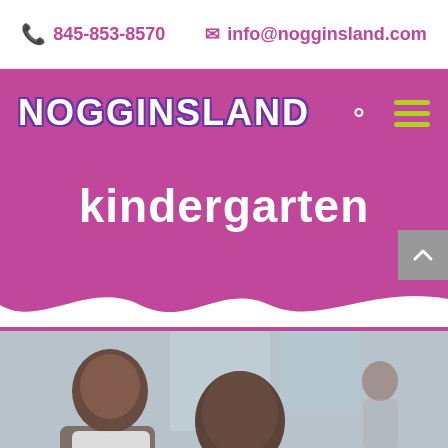📞 845-853-8570  ✉ info@nogginsland.com
NOGGINSLAND
kindergarten
[Figure (photo): Children sitting at a table, working together in a classroom setting. Blurred background showing a bright room.]